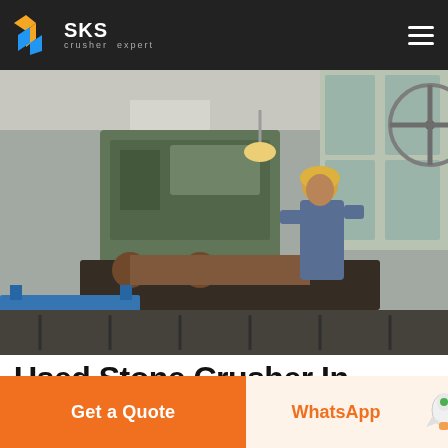SKS crusher expert
[Figure (photo): Industrial machinery workshop with a worker wearing a yellow hard hat operating heavy equipment; a large mechanical shaft/roller visible on a milling machine table; blue metal container in foreground; industrial fan and windows in background.]
Used Stone Crusher In South
Get a Quote
WhatsApp